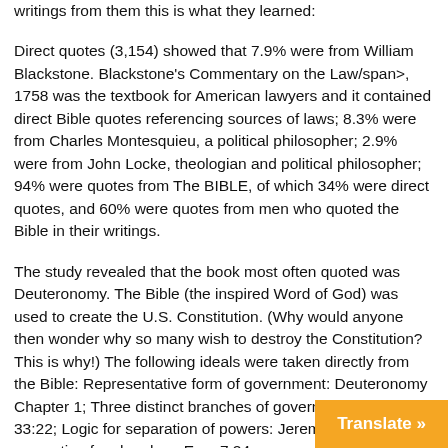writings from them this is what they learned:
Direct quotes (3,154) showed that 7.9% were from William Blackstone. Blackstone’s Commentary on the Law/span>, 1758 was the textbook for American lawyers and it contained direct Bible quotes referencing sources of laws; 8.3% were from Charles Montesquieu, a political philosopher; 2.9% were from John Locke, theologian and political philosopher; 94% were quotes from The BIBLE, of which 34% were direct quotes, and 60% were quotes from men who quoted the Bible in their writings.
The study revealed that the book most often quoted was Deuteronomy. The Bible (the inspired Word of God) was used to create the U.S. Constitution. (Why would anyone then wonder why so many wish to destroy the Constitution? This is why!) The following ideals were taken directly from the Bible: Representative form of government: Deuteronomy Chapter 1; Three distinct branches of government: Isaiah 33:22; Logic for separation of powers: Jeremiah 17:9; Tax exemption for churches: Ezra 7:24.